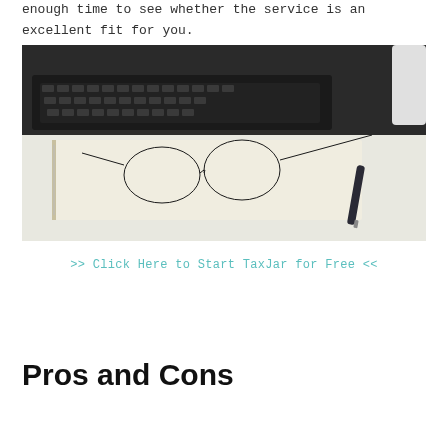enough time to see whether the service is an excellent fit for you.
[Figure (photo): Photo of an open notebook with glasses resting on top, a pen to the right, and an open laptop keyboard visible in the background on a desk.]
>> Click Here to Start TaxJar for Free <<
Pros and Cons